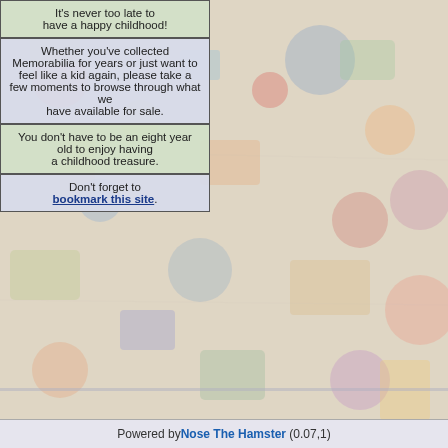[Figure (illustration): Background collage of colorful vintage toys, games, memorabilia items — pins, clocks, toys, badges — faded and washed out with light overlay]
It's never too late to have a happy childhood!
Whether you've collected Memorabilia for years or just want to feel like a kid again, please take a few moments to browse through what we have available for sale.
You don't have to be an eight year old to enjoy having a childhood treasure.
Don't forget to bookmark this site.
Powered by Nose The Hamster (0.07,1)